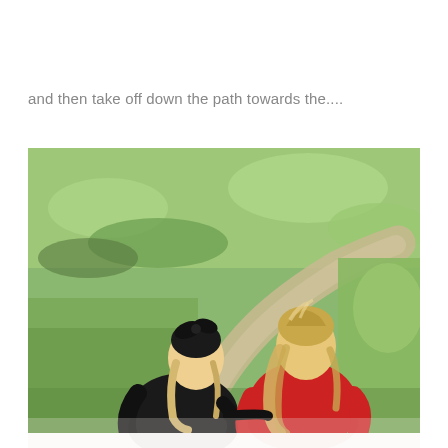and then take off down the path towards the....
[Figure (photo): Two children seen from behind, one in a black outfit with black hair bow and the other in a red hoodie with long blonde hair, walking along a dirt path through a grassy field.]